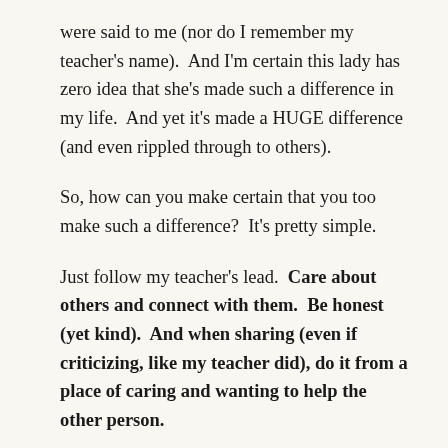were said to me (nor do I remember my teacher's name).  And I'm certain this lady has zero idea that she's made such a difference in my life.  And yet it's made a HUGE difference (and even rippled through to others).
So, how can you make certain that you too make such a difference?  It's pretty simple.
Just follow my teacher's lead.  Care about others and connect with them.  Be honest (yet kind).  And when sharing (even if criticizing, like my teacher did), do it from a place of caring and wanting to help the other person.